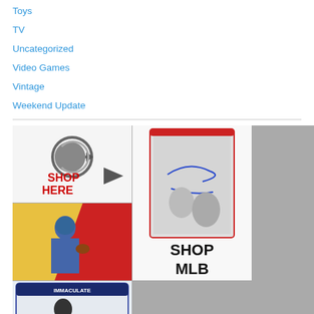Toys
TV
Uncategorized
Video Games
Vintage
Weekend Update
[Figure (illustration): Shop Here banner with arrow icon on light background]
[Figure (illustration): Shop MLB banner with baseball card autograph images on top]
[Figure (photo): NFL football player trading card]
[Figure (photo): NBA Immaculate basketball player trading card]